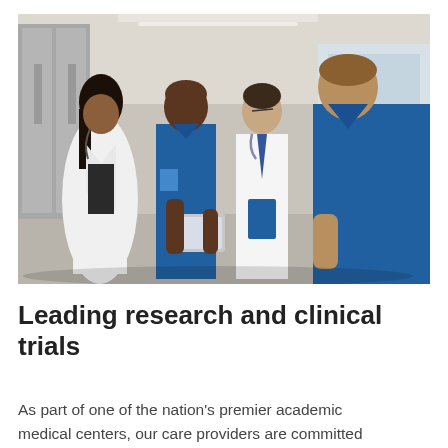[Figure (photo): Four medical professionals (one woman in white lab coat with stethoscope, three men in blue scrubs, one holding a tablet, one with a stethoscope and blue folder) standing together in a hospital corridor reviewing information on a tablet.]
Leading research and clinical trials
As part of one of the nation's premier academic medical centers, our care providers are committed